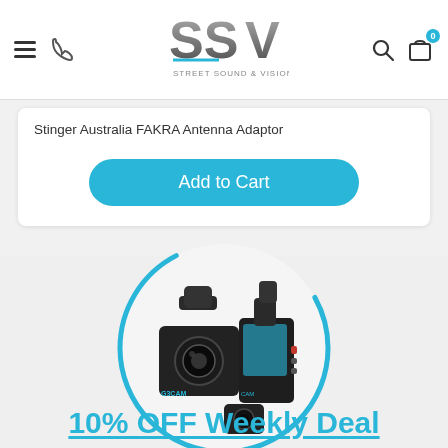Street Sound & Vision - SSV
Stinger Australia FAKRA Antenna Adaptor
Add to Cart
[Figure (photo): Dash camera product photo with multiple camera units including front and rear cameras, shown inside a circular blue ring graphic on a light grey background]
10% OFF Weekly Deal